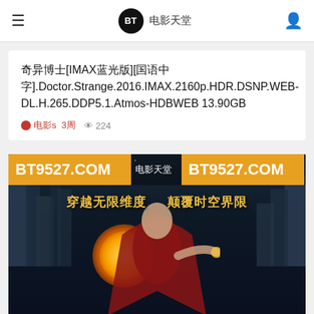≡  BT 电影天堂  👤
奇异博士[IMAX蓝光版][国语中字].Doctor.Strange.2016.IMAX.2160p.HDR.DSNP.WEB-DL.H.265.DDP5.1.Atmos-HDBWEB 13.90GB
🔴 电影s   3周   👁 224
[Figure (photo): Doctor Strange 2016 movie poster with BT9527.COM watermarks, showing the character with magical energy orb, Chinese text '穿越无限维度' and '颠覆时空界限']